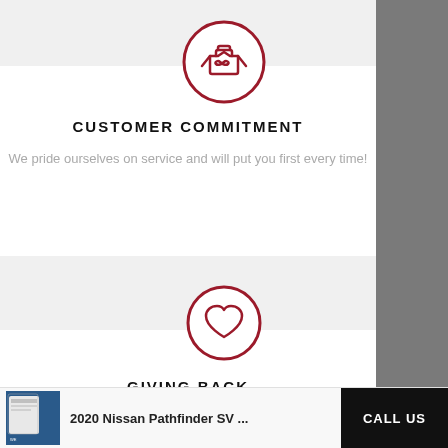[Figure (illustration): Red circle outline with a handshake icon inside, representing customer commitment]
CUSTOMER COMMITMENT
We pride ourselves on service and will put you first every time!
[Figure (illustration): Red circle outline with a heart icon inside, representing giving back]
GIVING BACK
...One Million Dollars...
[Figure (photo): Thumbnail image of a book cover for 2020 Nissan Pathfinder SV]
2020 Nissan Pathfinder SV ...
CALL US